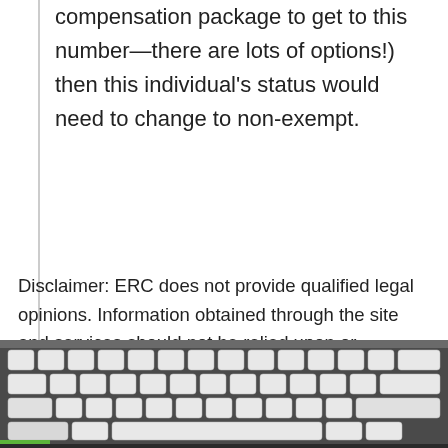compensation package to get to this number—there are lots of options!) then this individual's status would need to change to non-exempt.
Disclaimer: ERC does not provide qualified legal opinions. Information obtained through the site and services should not be relied upon or considered a substitute for legal advice. The information ERC provides is for general employer use and not necessarily for individual application. ERC recommends that you consult legal counsel for workplace matters.
[Figure (photo): Close-up photograph of a computer keyboard with white keys on a dark/silver body, with a green object visible at the bottom left.]